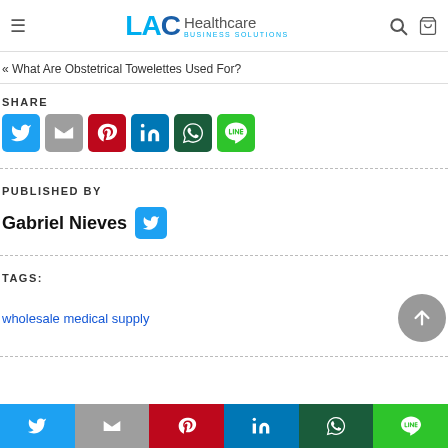LAC Healthcare Business Solutions
« What Are Obstetrical Towelettes Used For?
SHARE
[Figure (screenshot): Social share buttons: Twitter (blue), Gmail (grey), Pinterest (red), LinkedIn (blue), WhatsApp (dark green), Line (green)]
PUBLISHED BY
Gabriel Nieves
TAGS:
wholesale medical supply
[Figure (screenshot): Bottom share bar with Twitter, Gmail, Pinterest, LinkedIn, WhatsApp, Line icons]